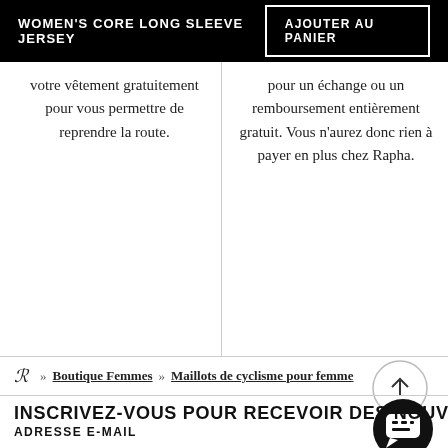WOMEN'S CORE LONG SLEEVE JERSEY | AJOUTER AU PANIER
votre vêtement gratuitement pour vous permettre de reprendre la route.
pour un échange ou un remboursement entièrement gratuit. Vous n'aurez donc rien à payer en plus chez Rapha.
ℛ » Boutique Femmes » Maillots de cyclisme pour femme
INSCRIVEZ-VOUS POUR RECEVOIR DES NOUVELLES DE RAPHA
ADRESSE E-MAIL